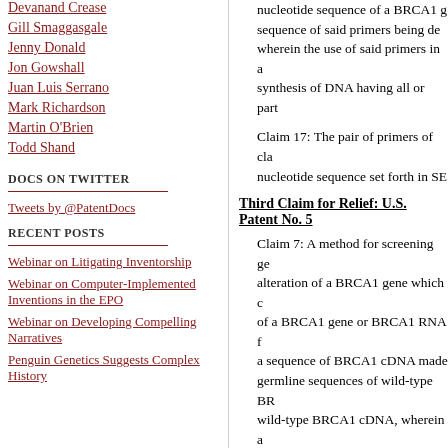Devanand Crease
Gill Smaggasgale
Jenny Donald
Jon Gowshall
Juan Luis Serrano
Mark Richardson
Martin O'Brien
Todd Shand
DOCS ON TWITTER
Tweets by @PatentDocs
RECENT POSTS
Webinar on Litigating Inventorship
Webinar on Computer-Implemented Inventions in the EPO
Webinar on Developing Compelling Narratives
Penguin Genetics Suggests Complex History
nucleotide sequence of a BRCA1 g... sequence of said primers being de... wherein the use of said primers in a... synthesis of DNA having all or part...
Claim 17: The pair of primers of cla... nucleotide sequence set forth in SE...
Third Claim for Relief: U.S. Patent No. 5...
Claim 7: A method for screening ge... alteration of a BRCA1 gene which c... of a BRCA1 gene or BRCA1 RNA f... a sequence of BRCA1 cDNA made... germline sequences of wild-type BR... wild-type BRCA1 cDNA, wherein a... gene, BRCA1 RNA or BRCA1 cDN... an alteration in the BRCA1 gene in... acid sequence is compared by hyb... specifically hybridizes to a BRCA1... sample and detecting the presence... presence of said product indicates...
Claim 8: A method for screening ge... alteration of a BRCA1 gene which c...